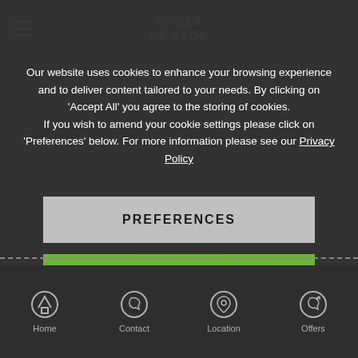ROGER DE FLOR
Our website uses cookies to enhance your browsing experience and to deliver content tailored to your needs. By clicking on 'Accept All' you agree to the storing of cookies. If you wish to amend your cookie settings please click on 'Preferences' below. For more information please see our Privacy Policy
PREFERENCES
ACCEPT ALL
Home  Contact  Location  Offers